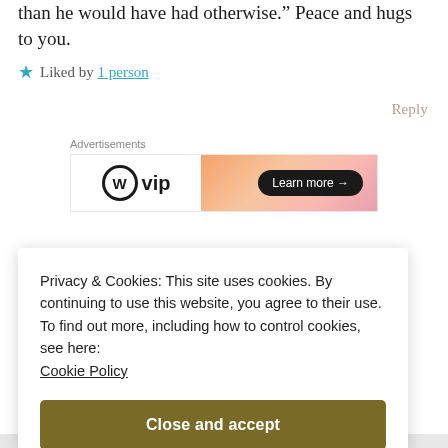than he would have had otherwise.” Peace and hugs to you.
★ Liked by 1 person
Reply
Advertisements
[Figure (screenshot): WordPress VIP advertisement banner with gradient orange-pink background and 'Learn more →' button]
Privacy & Cookies: This site uses cookies. By continuing to use this website, you agree to their use.
To find out more, including how to control cookies, see here:
Cookie Policy
Close and accept